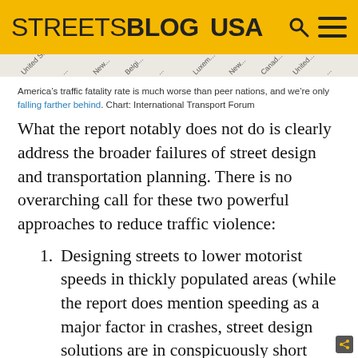STREETSBLOG USA
[Figure (other): Partial chart showing country labels along x-axis (cropped, showing tops of diagonal text labels for various countries)]
America’s traffic fatality rate is much worse than peer nations, and we’re only falling farther behind. Chart: International Transport Forum
What the report notably does not do is clearly address the broader failures of street design and transportation planning. There is no overarching call for these two powerful approaches to reduce traffic violence:
Designing streets to lower motorist speeds in thickly populated areas (while the report does mention speeding as a major factor in crashes, street design solutions are in conspicuously short supply in the list of recommendations)